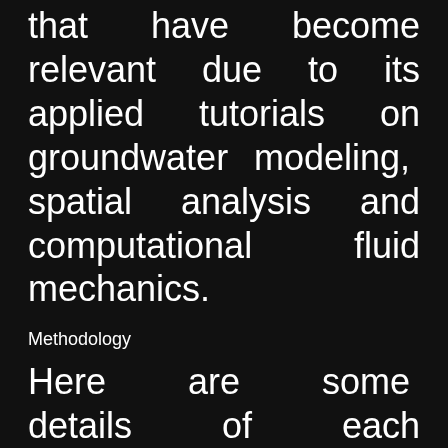that have become relevant due to its applied tutorials on groundwater modeling, spatial analysis and computational fluid mechanics.
Methodology
Here are some details of each methodology:
Manuals and files for the exercises will be delivered.
The course will be developed by videos on private web platform.
There is online support for questions regarding the exercises developed in the course.
Digital certificate available at the end of the course.
Video of the classes will be available for 2 months.
Courses in the digital certificate as shown...